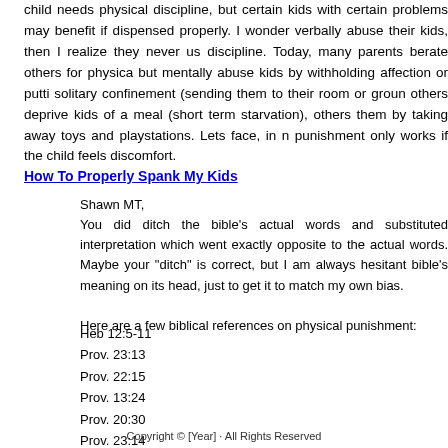child needs physical discipline, but certain kids with certain problems may benefit if dispensed properly. I wonder verbally abuse their kids, then I realize they never us discipline. Today, many parents berate others for physica but mentally abuse kids by withholding affection or putti solitary confinement (sending them to their room or groun others deprive kids of a meal (short term starvation), other them by taking away toys and playstations. Lets face, in n punishment only works if the child feels discomfort.
How To Properly Spank My Kids
Shawn MT,
You did ditch the bible's actual words and substituted interpretation which went exactly opposite to the actual word Maybe your "ditch" is correct, but I am always hesitant bible's meaning on its head, just to get it to match my ow bias.

Here are a few biblical references on physical punishment:
Heb 12:5-11
Prov. 23:13
Prov. 22:15
Prov. 13:24
Prov. 20:30
Prov. 23:14
Copyright © [Year] · All Rights Reserved